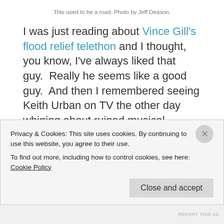This used to be a road. Photo by Jeff Deason.
I was just reading about Vince Gill's flood relief telethon and I thought, you know, I've always liked that guy.  Really he seems like a good guy.  And then I remembered seeing Keith Urban on TV the other day whining about ruined musical instruments and time out of his recording schedule and I thought, hey, f*** that guy. And it now occurs to me, um, where is everybody?  I mean this is a town FULL of celebrities.  You can't throw a rock without
Privacy & Cookies: This site uses cookies. By continuing to use this website, you agree to their use.
To find out more, including how to control cookies, see here: Cookie Policy
Close and accept